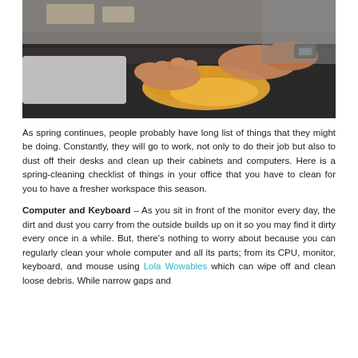[Figure (photo): Person wiping a dark desk surface with a yellow cloth, keyboard visible on the left, taken from above at an angle.]
As spring continues, people probably have long list of things that they might be doing. Constantly, they will go to work, not only to do their job but also to dust off their desks and clean up their cabinets and computers. Here is a spring-cleaning checklist of things in your office that you have to clean for you to have a fresher workspace this season.
Computer and Keyboard – As you sit in front of the monitor every day, the dirt and dust you carry from the outside builds up on it so you may find it dirty every once in a while. But, there's nothing to worry about because you can regularly clean your whole computer and all its parts; from its CPU, monitor, keyboard, and mouse using Lola Wowables which can wipe off and clean loose debris. While narrow gaps and